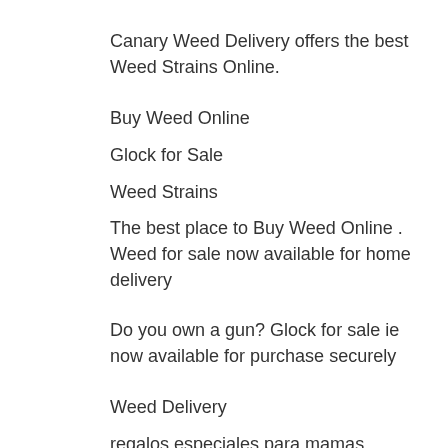Canary Weed Delivery offers the best Weed Strains Online.
Buy Weed Online
Glock for Sale
Weed Strains
The best place to Buy Weed Online . Weed for sale now available for home delivery
Do you own a gun? Glock for sale ie now available for purchase securely
Weed Delivery
regalos especiales para mamas
satta